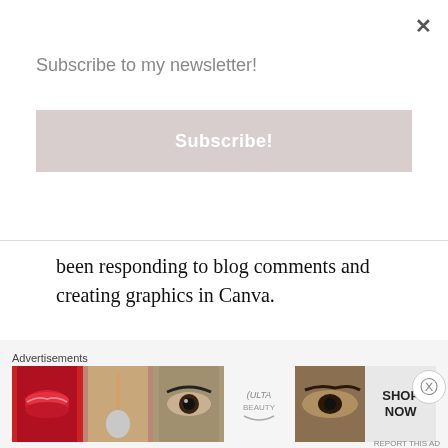Subscribe to my newsletter!
Subscribe!
been responding to blog comments and creating graphics in Canva.
★ Loading...
REPLY
[Figure (photo): Circular avatar photo of a woman with glasses holding a makeup brush]
Advertisements
[Figure (infographic): Ulta Beauty advertisement banner showing lips, makeup brush, eye, Ulta logo, eyebrows, and Shop Now text]